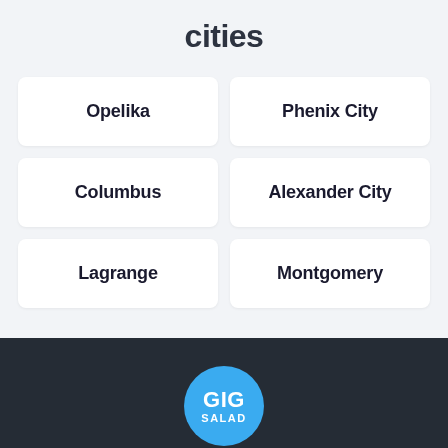cities
Opelika
Phenix City
Columbus
Alexander City
Lagrange
Montgomery
[Figure (logo): GigSalad circular blue logo with white text GIG SALAD]
About Us